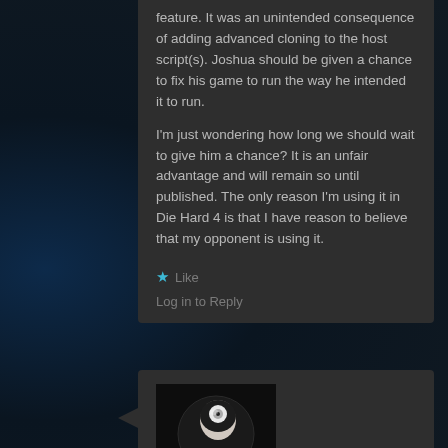feature. It was an unintended consequence of adding advanced cloning to the host script(s). Joshua should be given a chance to fix his game to run the way he intended it to run.

I'm just wondering how long we should wait to give him a chance? It is an unfair advantage and will remain so until published. The only reason I'm using it in Die Hard 4 is that I have reason to believe that my opponent is using it.
★ Like
Log in to Reply
[Figure (photo): User avatar photo showing an illustrated character in dark tones]
ecv on October 20, 2013 at 1:17 pm said:
Responses Modding with Blackout/00000